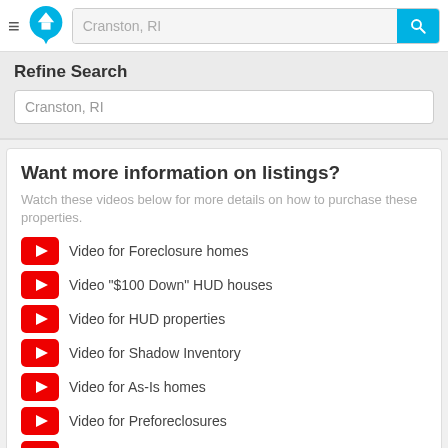Cranston, RI
Refine Search
Cranston, RI
Want more information on listings?
Watch these videos below for more details on how to purchase these properties.
Video for Foreclosure homes
Video "$100 Down" HUD houses
Video for HUD properties
Video for Shadow Inventory
Video for As-Is homes
Video for Preforeclosures
Video for Tax Liens